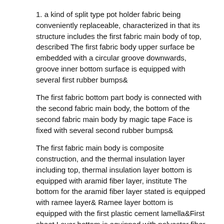1. a kind of split type pot holder fabric being conveniently replaceable, characterized in that its structure includes the first fabric main body of top, described The first fabric body upper surface be embedded with a circular groove downwards, groove inner bottom surface is equipped with several first rubber bumps&
The first fabric bottom part body is connected with the second fabric main body, the bottom of the second fabric main body by magic tape Face is fixed with several second rubber bumps&
The first fabric main body is composite construction, and the thermal insulation layer including top, thermal insulation layer bottom is equipped with aramid fiber layer, institute The bottom for the aramid fiber layer stated is equipped with ramee layer& Ramee layer bottom is equipped with the first plastic cement lamella&First sheet Layer bottom is equipped with polyester fiber layer&
The second fabric main body is composite construction, and the nylon face bed of material including top, nylon face bed of material bottom is equipped with second Plastic cement lamella, the second plastic cement lamella bottom are equipped with denim fabric layer, and denim fabric layer bottom is equipped with